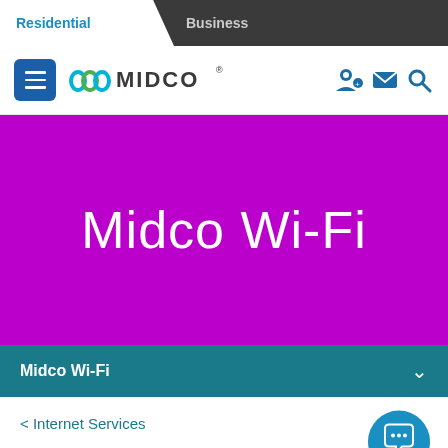Residential | Business
[Figure (logo): Midco logo with hamburger menu button and navigation icons (user, email, search)]
Midco Wi-Fi
Midco Wi-Fi
< Internet Services